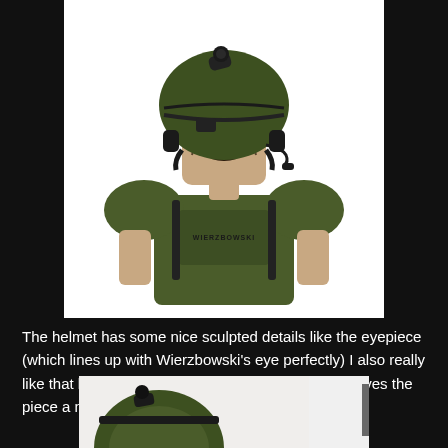[Figure (photo): Close-up photo of a Kubrick/Minimates-style military action figure wearing an olive green helmet with eyepiece and headset, green tactical body armor with 'WIERZBOWSKI' tampo printed on the chest plate, against a white background.]
The helmet has some nice sculpted details like the eyepiece (which lines up with Wierzbowski's eye perfectly) I also really like that his name is tampo'd on his chest plate. It gives the piece a nice personal touch.
[Figure (photo): Partial view of another angle of the same Wierzbowski action figure, showing the helmet from behind/side, cut off at the bottom of the page. A grey scroll-up button with a caret symbol is overlaid on the right side.]